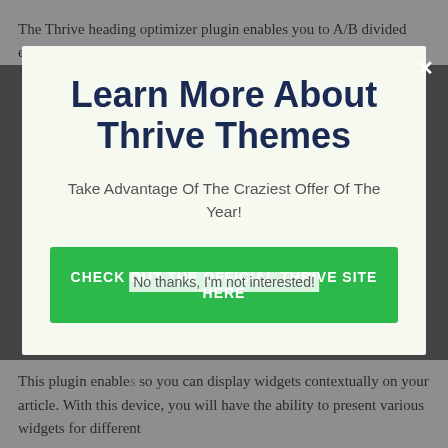The Thrive heading optimizer plugin enables you to A/B divided examination your headings to boost the click-through price for
Learn More About Thrive Themes
Take Advantage Of The Craziest Offer Of The Year!
CHECK OUT THE OFFICIAL THRIVE SITE HERE
No thanks, I'm not interested!
This plugin enables so you can display widgets contextually on your article. With this device, you will have the ability to present various widgets for different